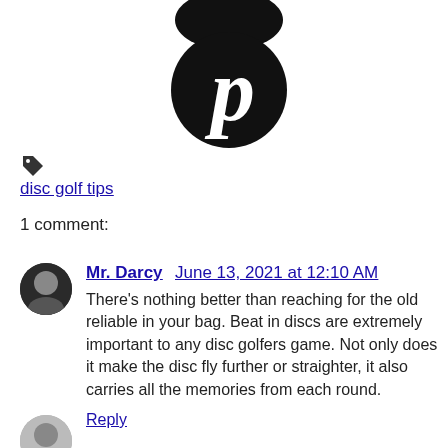[Figure (logo): Pinterest logo — black circle with white cursive P letter, partial top black circle visible above]
disc golf tips
1 comment:
[Figure (photo): Small circular avatar photo of Mr. Darcy character]
Mr. Darcy  June 13, 2021 at 12:10 AM
There's nothing better than reaching for the old reliable in your bag. Beat in discs are extremely important to any disc golfers game. Not only does it make the disc fly further or straighter, it also carries all the memories from each round.
Reply
[Figure (photo): Partial circular avatar at bottom of page]